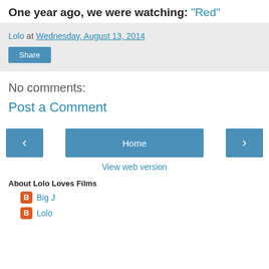One year ago, we were watching: "Red"
Lolo at Wednesday, August 13, 2014
Share
No comments:
Post a Comment
Home
View web version
About Lolo Loves Films
Big J
Lolo